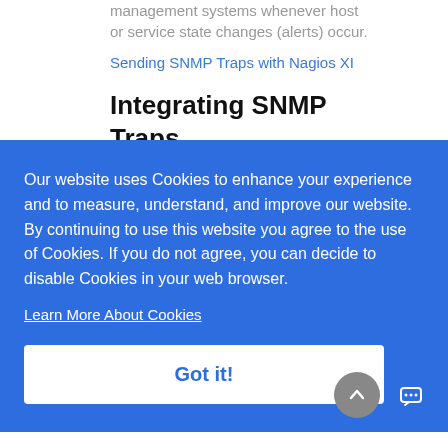management systems whenever host or service state changes (alerts) occur.
Sending SNMP Traps with Nagios XI
Integrating SNMP Traps with Nagios XI
Our website uses Cookies to enhance your experience and to measure, understand, and improve our website. By continuing to use this website you agree to the use of Cookies. If you do not agree, you can decide to disable Cookies in your web browser.
Learn More About Cookies
Got it!